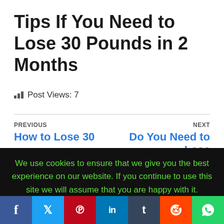Tips If You Need to Lose 30 Pounds in 2 Months
Post Views: 7
PREVIOUS
How to Lose 30
NEXT
Do You Need to Lose
We use cookies to ensure that we give you the best experience on our website. If you continue to use this site we will assume that you are happy with it.